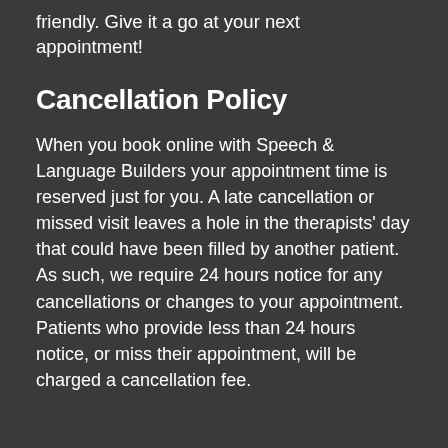friendly. Give it a go at your next appointment!
Cancellation Policy
When you book online with Speech & Language Builders your appointment time is reserved just for you. A late cancellation or missed visit leaves a hole in the therapists' day that could have been filled by another patient. As such, we require 24 hours notice for any cancellations or changes to your appointment. Patients who provide less than 24 hours notice, or miss their appointment, will be charged a cancellation fee.